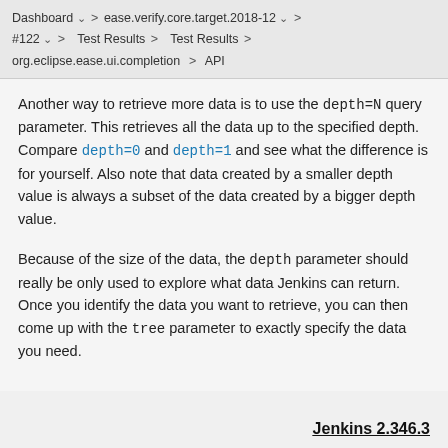Dashboard > ease.verify.core.target.2018-12 > #122 > Test Results > Test Results > org.eclipse.ease.ui.completion > API
Another way to retrieve more data is to use the depth=N query parameter. This retrieves all the data up to the specified depth. Compare depth=0 and depth=1 and see what the difference is for yourself. Also note that data created by a smaller depth value is always a subset of the data created by a bigger depth value.
Because of the size of the data, the depth parameter should really be only used to explore what data Jenkins can return. Once you identify the data you want to retrieve, you can then come up with the tree parameter to exactly specify the data you need.
Jenkins 2.346.3